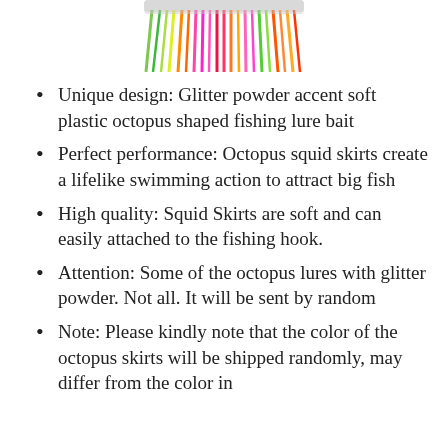[Figure (photo): Colorful fishing lure skirts in pink, orange, green, and other bright colors shown from above, partially cropped at top of page.]
Unique design: Glitter powder accent soft plastic octopus shaped fishing lure bait
Perfect performance: Octopus squid skirts create a lifelike swimming action to attract big fish
High quality: Squid Skirts are soft and can easily attached to the fishing hook.
Attention: Some of the octopus lures with glitter powder. Not all. It will be sent by random
Note: Please kindly note that the color of the octopus skirts will be shipped randomly, may differ from the color in the picture